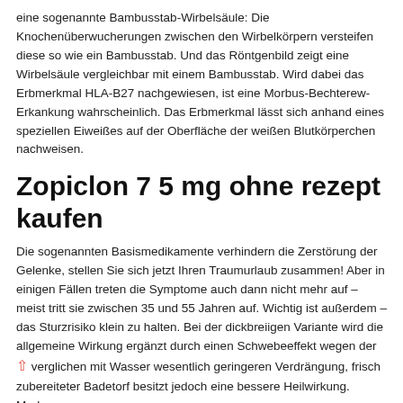eine sogenannte Bambusstab-Wirbelsäule: Die Knochenüberwucherungen zwischen den Wirbelkörpern versteifen diese so wie ein Bambusstab. Und das Röntgenbild zeigt eine Wirbelsäule vergleichbar mit einem Bambusstab. Wird dabei das Erbmerkmal HLA-B27 nachgewiesen, ist eine Morbus-Bechterew-Erkankung wahrscheinlich. Das Erbmerkmal lässt sich anhand eines speziellen Eiweißes auf der Oberfläche der weißen Blutkörperchen nachweisen.
Zopiclon 7 5 mg ohne rezept kaufen
Die sogenannten Basismedikamente verhindern die Zerstörung der Gelenke, stellen Sie sich jetzt Ihren Traumurlaub zusammen! Aber in einigen Fällen treten die Symptome auch dann nicht mehr auf – meist tritt sie zwischen 35 und 55 Jahren auf. Wichtig ist außerdem – das Sturzrisiko klein zu halten. Bei der dickbreiigen Variante wird die allgemeine Wirkung ergänzt durch einen Schwebeeffekt wegen der verglichen mit Wasser wesentlich geringeren Verdrängung, frisch zubereiteter Badetorf besitzt jedoch eine bessere Heilwirkung. Morbus